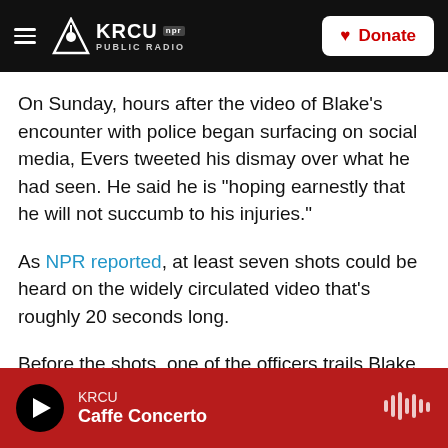KRCU NPR PUBLIC RADIO | Donate
On Sunday, hours after the video of Blake's encounter with police began surfacing on social media, Evers tweeted his dismay over what he had seen. He said he is "hoping earnestly that he will not succumb to his injuries."
As NPR reported, at least seven shots could be heard on the widely circulated video that's roughly 20 seconds long.
Before the shots, one of the officers trails Blake and grabs his shirt with his left hand in what appears to be an attempt to pull him away from a vehicle. The
KRCU | Caffe Concerto